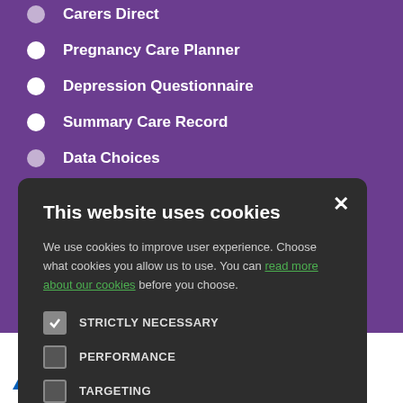Carers Direct
Pregnancy Care Planner
Depression Questionnaire
Summary Care Record
Data Choices
This website uses cookies
We use cookies to improve user experience. Choose what cookies you allow us to use. You can read more about our cookies before you choose.
STRICTLY NECESSARY
PERFORMANCE
TARGETING
FUNCTIONALITY
ACCEPT ALL
DECLINE ALL
[Figure (logo): NHS and partner organisation logos at the bottom of the page]